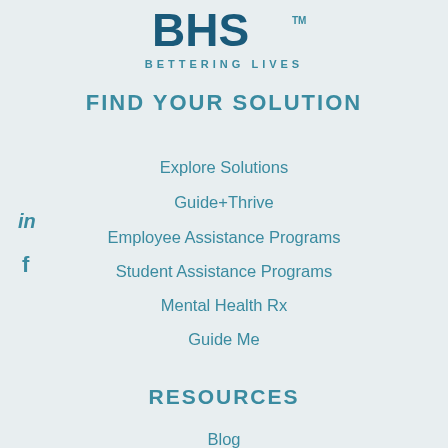[Figure (logo): BHS logo with tagline BETTERING LIVES]
FIND YOUR SOLUTION
Explore Solutions
Guide+Thrive
Employee Assistance Programs
Student Assistance Programs
Mental Health Rx
Guide Me
RESOURCES
Blog